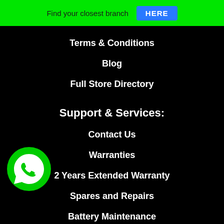Find your closest branch HERE
Terms & Conditions
Blog
Full Store Directory
Support & Services:
Contact Us
Warranties
2 Years Extended Warranty
Spares and Repairs
Battery Maintenance